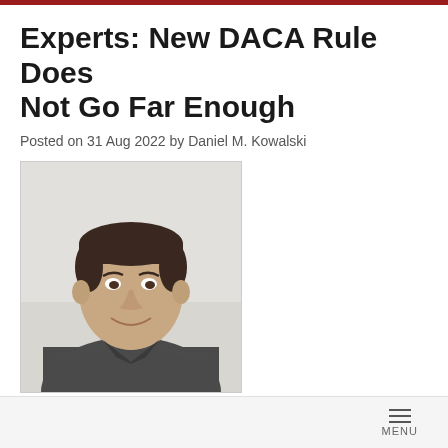Experts: New DACA Rule Does Not Go Far Enough
Posted on 31 Aug 2022 by Daniel M. Kowalski
[Figure (photo): Headshot photo of a young man with dark hair, smiling, wearing a dark grey shirt, against a light background.]
Jacob Hamburger, Stephen W. Yale-Loehr, Aug. 30, 2022 "On Tuesday, the Biden administration published a new rule codifying the Deferred Action for Childhood Arrivals (DACA) program for the first